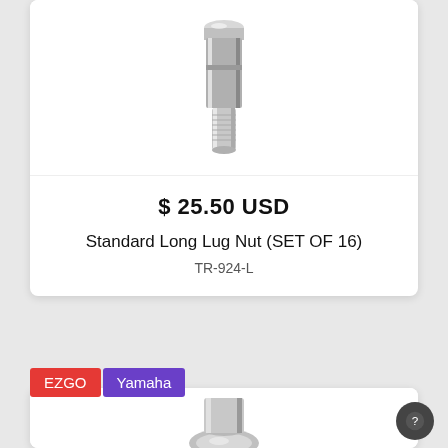[Figure (photo): Chrome long lug nut product photo, top portion cropped at top of page]
$ 25.50 USD
Standard Long Lug Nut (SET OF 16)
TR-924-L
EZGO
Yamaha
[Figure (photo): Chrome lug nut product photo, partially visible at bottom of page]
[Figure (other): Help/support circular button icon, bottom right corner]